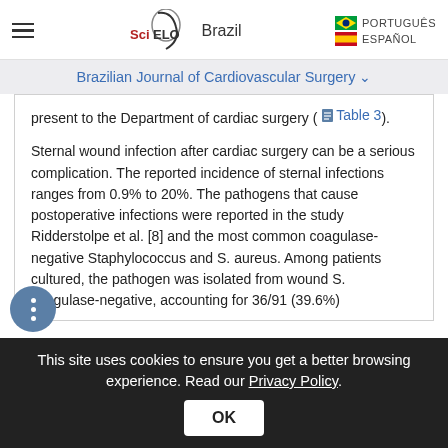SciELO Brazil | PORTUGUÊS | ESPAÑOL
Brazilian Journal of Cardiovascular Surgery
present to the Department of cardiac surgery ( Table 3).
Sternal wound infection after cardiac surgery can be a serious complication. The reported incidence of sternal infections ranges from 0.9% to 20%. The pathogens that cause postoperative infections were reported in the study Ridderstolpe et al. [8] and the most common coagulase-negative Staphylococcus and S. aureus. Among patients cultured, the pathogen was isolated from wound S. coagulase-negative, accounting for 36/91 (39.6%)
This site uses cookies to ensure you get a better browsing experience. Read our Privacy Policy.